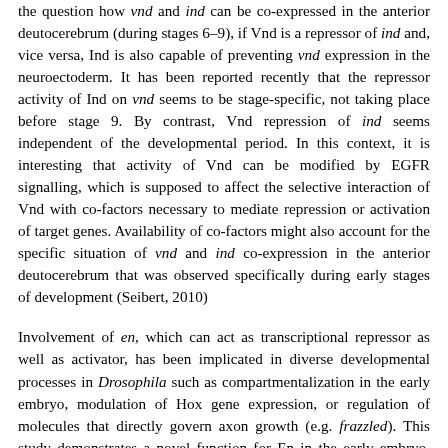the question how vnd and ind can be co-expressed in the anterior deutocerebrum (during stages 6–9), if Vnd is a repressor of ind and, vice versa, Ind is also capable of preventing vnd expression in the neuroectoderm. It has been reported recently that the repressor activity of Ind on vnd seems to be stage-specific, not taking place before stage 9. By contrast, Vnd repression of ind seems independent of the developmental period. In this context, it is interesting that activity of Vnd can be modified by EGFR signalling, which is supposed to affect the selective interaction of Vnd with co-factors necessary to mediate repression or activation of target genes. Availability of co-factors might also account for the specific situation of vnd and ind co-expression in the anterior deutocerebrum that was observed specifically during early stages of development (Seibert, 2010)
Involvement of en, which can act as transcriptional repressor as well as activator, has been implicated in diverse developmental processes in Drosophila such as compartmentalization in the early embryo, modulation of Hox gene expression, or regulation of molecules that directly govern axon growth (e.g. frazzled). This study demonstrates a novel function for En in the early embryo, that is to control the spatially restricted expression of the DV genes in the neuromeres of the posterior brain (trito- and deutocerebrum) and to also control further expression of the